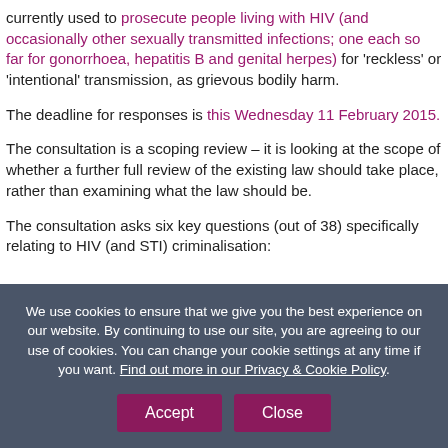currently used to prosecute people living with HIV (and occasionally other sexually transmitted infections; one each so far for gonorrhoea, hepatitis B and genital herpes) for 'reckless' or 'intentional' transmission, as grievous bodily harm.
The deadline for responses is this Wednesday 11 February 2015.
The consultation is a scoping review – it is looking at the scope of whether a further full review of the existing law should take place, rather than examining what the law should be.
The consultation asks six key questions (out of 38) specifically relating to HIV (and STI) criminalisation:
We use cookies to ensure that we give you the best experience on our website. By continuing to use our site, you are agreeing to our use of cookies. You can change your cookie settings at any time if you want. Find out more in our Privacy & Cookie Policy.